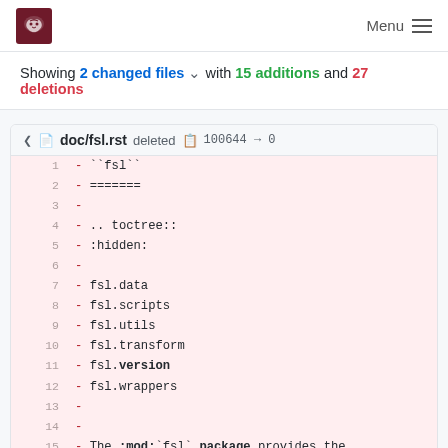Menu
Showing 2 changed files with 15 additions and 27 deletions
doc/fsl.rst deleted 100644 → 0
| line | diff |
| --- | --- |
| 1 | - ``fsl`` |
| 2 | - ======= |
| 3 | - |
| 4 | - .. toctree:: |
| 5 | -     :hidden: |
| 6 | - |
| 7 | -     fsl.data |
| 8 | -     fsl.scripts |
| 9 | -     fsl.utils |
| 10 | -     fsl.transform |
| 11 | -     fsl.version |
| 12 | -     fsl.wrappers |
| 13 | - |
| 14 | - |
| 15 | - The :mod:`fsl` **package** provides the |